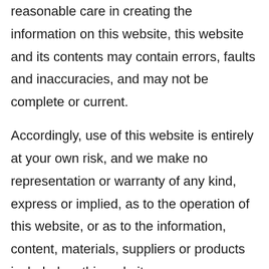reasonable care in creating the information on this website, this website and its contents may contain errors, faults and inaccuracies, and may not be complete or current.
Accordingly, use of this website is entirely at your own risk, and we make no representation or warranty of any kind, express or implied, as to the operation of this website, or as to the information, content, materials, suppliers or products included on this website.
To the extent that this website might contain links to websites operated by third parties, we